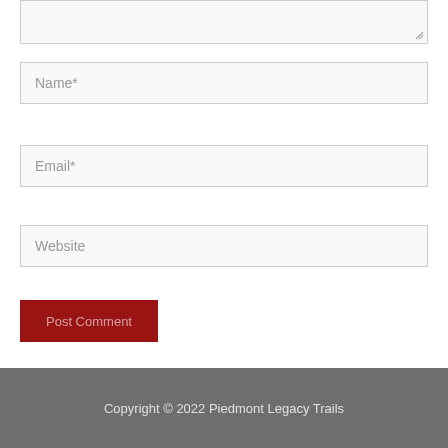[Figure (screenshot): Textarea input box (partially visible at top) with resize handle in bottom-right corner]
Name*
Email*
Website
Post Comment
Copyright © 2022 Piedmont Legacy Trails